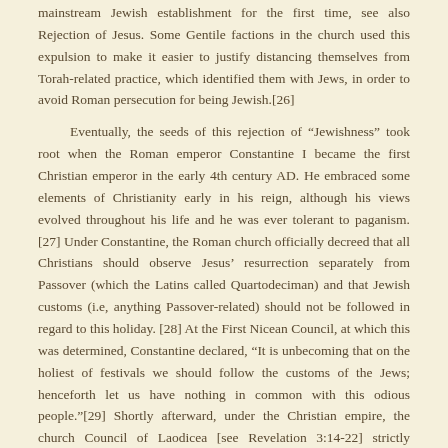mainstream Jewish establishment for the first time, see also Rejection of Jesus. Some Gentile factions in the church used this expulsion to make it easier to justify distancing themselves from Torah-related practice, which identified them with Jews, in order to avoid Roman persecution for being Jewish.[26]
Eventually, the seeds of this rejection of “Jewishness” took root when the Roman emperor Constantine I became the first Christian emperor in the early 4th century AD. He embraced some elements of Christianity early in his reign, although his views evolved throughout his life and he was ever tolerant to paganism. [27] Under Constantine, the Roman church officially decreed that all Christians should observe Jesus’ resurrection separately from Passover (which the Latins called Quartodeciman) and that Jewish customs (i.e, anything Passover-related) should not be followed in regard to this holiday. [28] At the First Nicean Council, at which this was determined, Constantine declared, “It is unbecoming that on the holiest of festivals we should follow the customs of the Jews; henceforth let us have nothing in common with this odious people.”[29] Shortly afterward, under the Christian empire, the church Council of Laodicea [see Revelation 3:14-22] strictly prohibited Christians from observing the Sabbath as described in